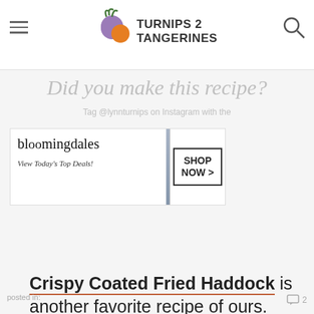Turnips 2 Tangerines
Did you make this recipe?
Tag @lynnturnips on Instagram with the
[Figure (screenshot): Bloomingdale's advertisement banner: logo, 'View Today's Top Deals!', photo of woman in hat, SHOP NOW > button]
Crispy Coated Fried Haddock is another favorite recipe of ours. Serve with homemade tarter sauce.
Products used in this recipe: Icelandic Haddock
[Figure (screenshot): ULTA beauty advertisement banner with makeup images and SHOP NOW button]
posted in: